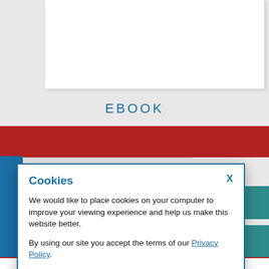[Figure (screenshot): White card background element at top of page]
EBOOK
[Figure (screenshot): Red navigation bar background]
Cookies
We would like to place cookies on your computer to improve your viewing experience and help us make this website better.

By using our site you accept the terms of our Privacy Policy.
OKAY, THANKS
RECOMMEND TO LIBRARIAN